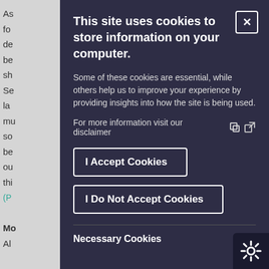As
fo
de
be
sh
Se
la
mu
so
be
ou
thi
(P
Mo
Al
This site uses cookies to store information on your computer.
Some of these cookies are essential, while others help us to improve your experience by providing insights into how the site is being used.
For more information visit our disclaimer
I Accept Cookies
I Do Not Accept Cookies
Necessary Cookies